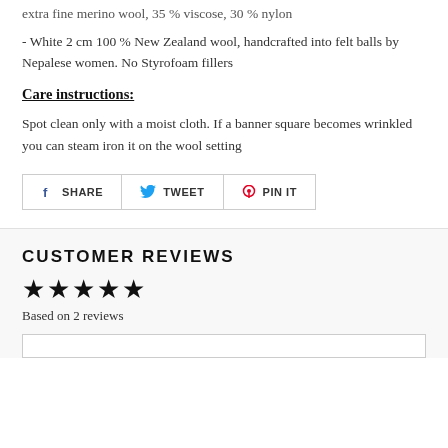extra fine merino wool, 35 % viscose, 30 % nylon
- White 2 cm 100 % New Zealand wool, handcrafted into felt balls by Nepalese women. No Styrofoam fillers
Care instructions:
Spot clean only with a moist cloth. If a banner square becomes wrinkled you can steam iron it on the wool setting
[Figure (infographic): Social sharing buttons: Facebook SHARE, Twitter TWEET, Pinterest PIN IT]
CUSTOMER REVIEWS
[Figure (infographic): Five black stars rating]
Based on 2 reviews